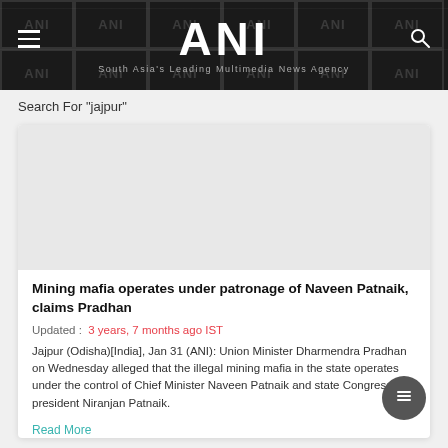ANI — South Asia's Leading Multimedia News Agency
Search For "jajpur"
[Figure (other): Blank image placeholder inside article card]
Mining mafia operates under patronage of Naveen Patnaik, claims Pradhan
Updated :   3 years, 7 months ago IST
Jajpur (Odisha)[India], Jan 31 (ANI): Union Minister Dharmendra Pradhan on Wednesday alleged that the illegal mining mafia in the state operates under the control of Chief Minister Naveen Patnaik and state Congress president Niranjan Patnaik.
Read More